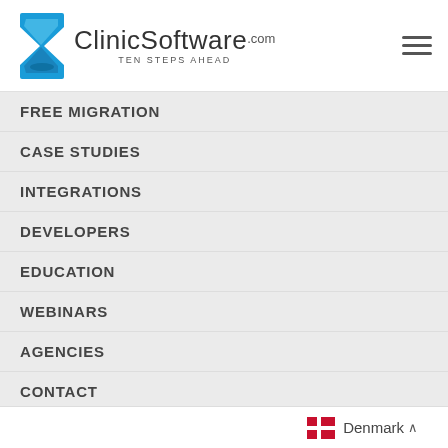ClinicSoftware.com — TEN STEPS AHEAD
FREE MIGRATION
CASE STUDIES
INTEGRATIONS
DEVELOPERS
EDUCATION
WEBINARS
AGENCIES
CONTACT
LOGIN
FOR EXISTING CLIENTS ONLY
To submit a question to the support department, please click here.
Support:  24/7 via Email & Ticket.
Denmark